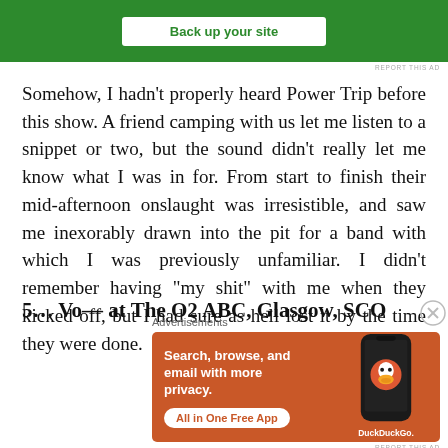[Figure (screenshot): Top portion of a green advertisement banner with a white button that reads 'Back up your site']
Somehow, I hadn't properly heard Power Trip before this show. A friend camping with us let me listen to a snippet or two, but the sound didn't really let me know what I was in for. From start to finish their mid-afternoon onslaught was irresistible, and saw me inexorably drawn into the pit for a band with which I was previously unfamiliar. I didn't remember having “my shit” with me when they kicked off, but I had sure as hell lost it by the time they were done.
5… Vo— at The O2 ABC, Glasgow, SCO
Advertisements
[Figure (screenshot): DuckDuckGo advertisement on orange background: 'Search, browse, and email with more privacy. All in One Free App' with a phone graphic and DuckDuckGo logo]